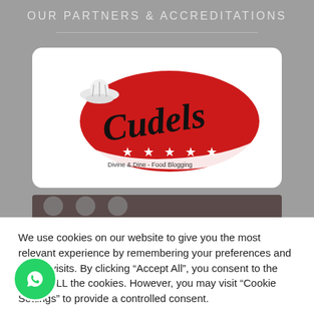OUR PARTNERS & ACCREDITATIONS
[Figure (logo): Cudels Divine & Dine - Food Blogging logo: red oval with chef hat and white stars, cursive text 'Cudels' in black]
We use cookies on our website to give you the most relevant experience by remembering your preferences and repeat visits. By clicking "Accept All", you consent to the use of ALL the cookies. However, you may visit "Cookie Settings" to provide a controlled consent.
Cookie Settings | Accept All